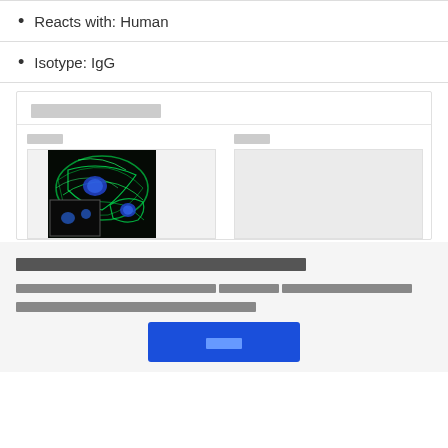Reacts with: Human
Isotype: IgG
░░░░░░░░░░░░░░
░░░░░
░░░░░
[Figure (photo): Fluorescence microscopy image showing cells stained green (cytoskeletal filaments) with blue nuclei on black background, with a smaller inset image in the lower left corner.]
[Figure (photo): Empty/placeholder image panel (light gray background).]
░░░░░░░░░░░░░░░░░░░░░░░░░░░░░░░░░░░░░░░░░░░░░░░░
░░░░░░░░░░░░░░░░░░░░░░░░░░░░░░░░░░░░░░░░░░░░░░░░░░░░░░░░░░░░░░░░░░░░░░░░░░░░░░░░░░░░░░░░░░░░░░░░░░░░░░░░░░░░░░░░░░░░░░░░░░░░░░░░░░░░░░░░░░░░░
░░░░░ [button]